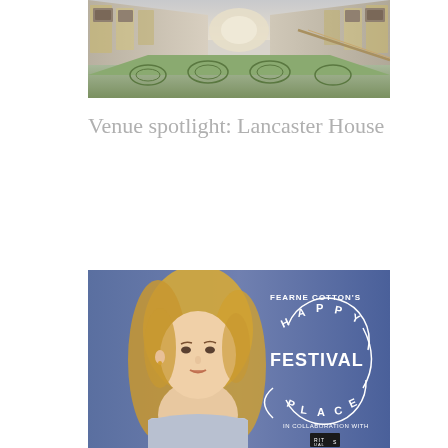[Figure (photo): Interior photo of an ornate hall with decorative carpet, gilded walls with artwork, and arched doorways — Lancaster House interior]
Venue spotlight: Lancaster House
[Figure (photo): Advertisement for Fearne Cotton's Happy Place Festival, showing a blonde woman against a blue background with circular logo text 'FEARNE COTTON'S HAPPY PLACE FESTIVAL' and 'IN COLLABORATION WITH RITUALS' branding]